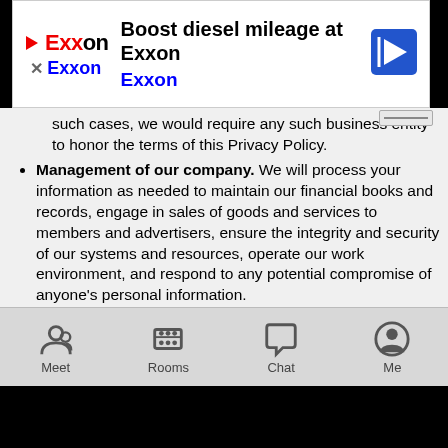[Figure (screenshot): Exxon advertisement banner: 'Boost diesel mileage at Exxon' with Exxon logo and directional sign icon]
such cases, we would require any such business entity to honor the terms of this Privacy Policy.
Management of our company. We will process your information as needed to maintain our financial books and records, engage in sales of goods and services to members and advertisers, ensure the integrity and security of our systems and resources, operate our work environment, and respond to any potential compromise of anyone's personal information.
Service providers. We transfer information to vendors, service providers, and other partners who support our business, such as providing technical infrastructure services, analyzing how our services are used, measuring the effectiveness of ads and services, providing customer service, facilitating payments, or conducting research and surveys. These partners agree to adhere to confidentiality obligations consistent with this Privacy Policy and the agreements we enter into with them.
Advertisers. We may share information with third parties for the
Meet   Rooms   Chat   Me